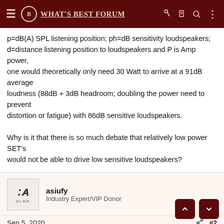WHAT'S BEST FORUM
p=dB(A) SPL listening position; ph=dB sensitivity loudspeakers; d=distance listening position to loudspeakers and P is Amp power, one would theoretically only need 30 Watt to arrive at a 91dB average loudness (88dB + 3dB headroom; doubling the power need to prevent distortion or fatigue) with 86dB sensitive loudspeakers.

Why is it that there is so much debate that relatively low power SET's would not be able to drive low sensitive loudspeakers?
asiufy
Industry Expert/VIP Donor
Sep 5, 2020
#2
It's not about the average SPLs, it's about peaks, and instantaneous power to properly convey the dynamic swings in the music.
RdW
Well-Known Member